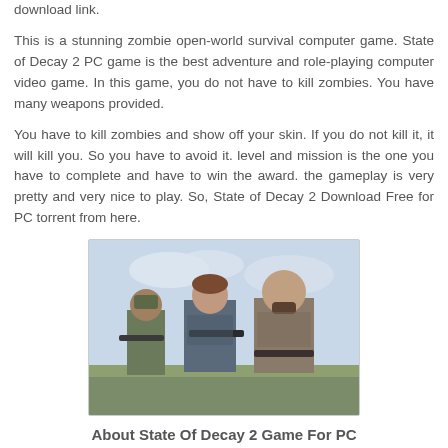download link.
This is a stunning zombie open-world survival computer game. State of Decay 2 PC game is the best adventure and role-playing computer video game. In this game, you do not have to kill zombies. You have many weapons provided.
You have to kill zombies and show off your skin. If you do not kill it, it will kill you. So you have to avoid it. level and mission is the one you have to complete and have to win the award. the gameplay is very pretty and very nice to play. So, State of Decay 2 Download Free for PC torrent from here.
[Figure (photo): Three armed characters from State of Decay 2 game standing together outdoors with a cloudy sky background.]
About State Of Decay 2 Game For PC